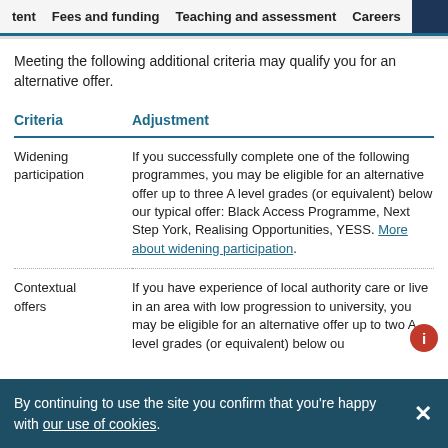tent   Fees and funding   Teaching and assessment   Careers   Entry r
Meeting the following additional criteria may qualify you for an alternative offer.
| Criteria | Adjustment |
| --- | --- |
| Widening participation | If you successfully complete one of the following programmes, you may be eligible for an alternative offer up to three A level grades (or equivalent) below our typical offer: Black Access Programme, Next Step York, Realising Opportunities, YESS. More about widening participation. |
| Contextual offers | If you have experience of local authority care or live in an area with low progression to university, you may be eligible for an alternative offer up to two A level grades (or equivalent) below ou... |
By continuing to use the site you confirm that you're happy with our use of cookies.